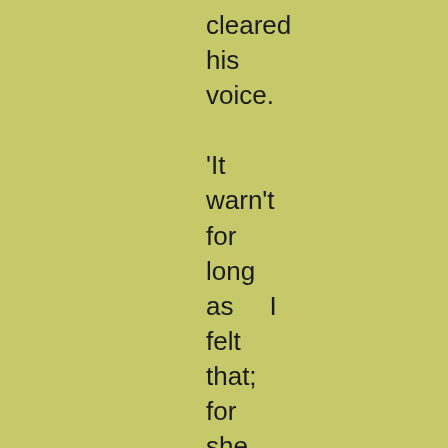cleared his voice. 'It warn't for long as I felt that; for she was found. I had on'y to think as she